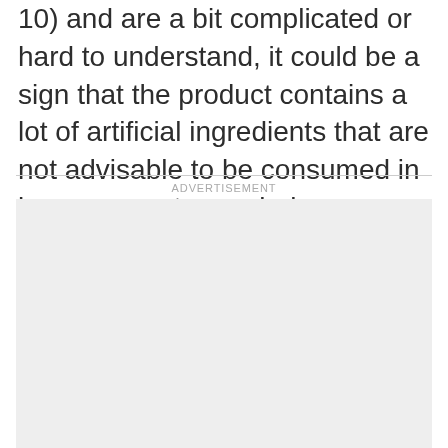10) and are a bit complicated or hard to understand, it could be a sign that the product contains a lot of artificial ingredients that are not advisable to be consumed in large amounts regularly so you might want to reconsider buying it.
[Figure (other): Advertisement placeholder box with 'ADVERTISEMENT' label above a light gray empty rectangle]